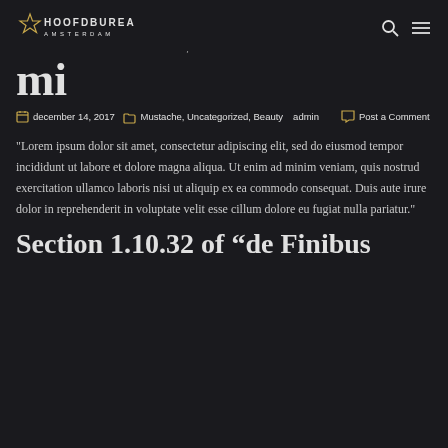HOOFDBUREAU AMSTERDAM
mi
december 14, 2017  Mustache, Uncategorized, Beauty  admin  Post a Comment
“Lorem ipsum dolor sit amet, consectetur adipiscing elit, sed do eiusmod tempor incididunt ut labore et dolore magna aliqua. Ut enim ad minim veniam, quis nostrud exercitation ullamco laboris nisi ut aliquip ex ea commodo consequat. Duis aute irure dolor in reprehenderit in voluptate velit esse cillum dolore eu fugiat nulla pariatur.”
Section 1.10.32 of “de Finibus